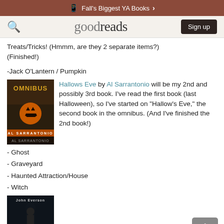Fall's Biggest YA Books ›
goodreads  Sign up
Treats/Tricks! (Hmmm, are they 2 separate items?) (Finished!)
-Jack O'Lantern / Pumpkin
[Figure (photo): Book cover of Omnibus by Al Sarrantonio with a jack-o-lantern image]
Hallows Eve by Al Sarrantonio will be my 2nd and possibly 3rd book. I've read the first book (last Halloween), so I've started on "Hallow's Eve," the second book in the omnibus. (And I've finished the 2nd book!)
- Ghost
- Graveyard
- Haunted Attraction/House
- Witch
[Figure (photo): Book cover of a John Everson book, dark cover with silhouetted figure]